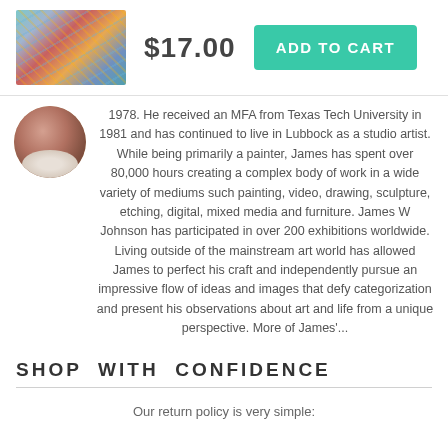[Figure (photo): Thumbnail of abstract colorful painting artwork]
$17.00
ADD TO CART
[Figure (photo): Circular avatar photo of an older man with white beard]
1978. He received an MFA from Texas Tech University in 1981 and has continued to live in Lubbock as a studio artist. While being primarily a painter, James has spent over 80,000 hours creating a complex body of work in a wide variety of mediums such painting, video, drawing, sculpture, etching, digital, mixed media and furniture. James W Johnson has participated in over 200 exhibitions worldwide. Living outside of the mainstream art world has allowed James to perfect his craft and independently pursue an impressive flow of ideas and images that defy categorization and present his observations about art and life from a unique perspective. More of James'...
SHOP WITH CONFIDENCE
Our return policy is very simple: